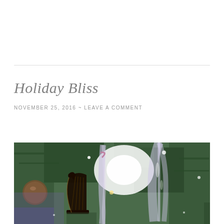Holiday Bliss
NOVEMBER 25, 2016 ~ LEAVE A COMMENT
[Figure (photo): Close-up photo of Christmas tree ornaments including a small harp ornament, crystal/glass icicle ornaments, and pine branches with lights in the background.]